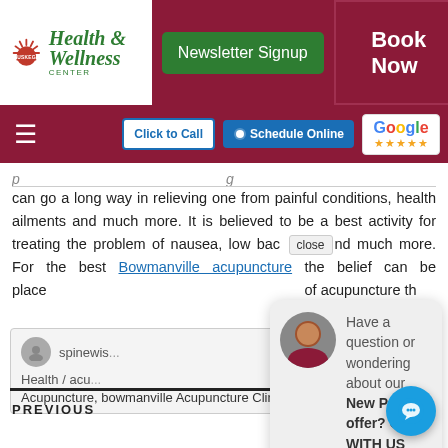Muskego Health & Wellness Center — Newsletter Signup | Book Now
[Figure (screenshot): Website navigation bar with Muskego Health & Wellness Center logo, Newsletter Signup button (green), Book Now button (dark red), hamburger menu, Click to Call, Schedule Online, and Google review stars buttons]
can go a long way in relieving one from painful conditions, health ailments and much more. It is believed to be a best activity for treating the problem of nausea, low back [close] nd much more. For the best Bowmanville acupuncture the belief can be place[d] ...of acupuncture th[erapy...]
Have a question or wondering about our New Patient offer? CHAT WITH US HERE!
| Author | Categories | Tags |
| --- | --- | --- |
| spinewis[e] | Health / acu[puncture] | Acupuncture, bowmanville Acupuncture Clinic |
PREVIOUS